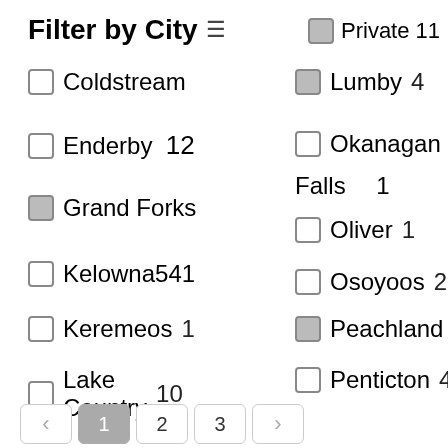Filter by City ≡
☐ Private 11
☐ Coldstream
☑ Lumby 4
☐ Enderby 12
☐ Okanagan Falls 1
☑ Grand Forks
☐ Oliver 1
☐ Kelowna 541
☐ Osoyoos 2
☐ Keremeos 1
☑ Peachland 5
☐ Lake Country 10
☐ Penticton 4